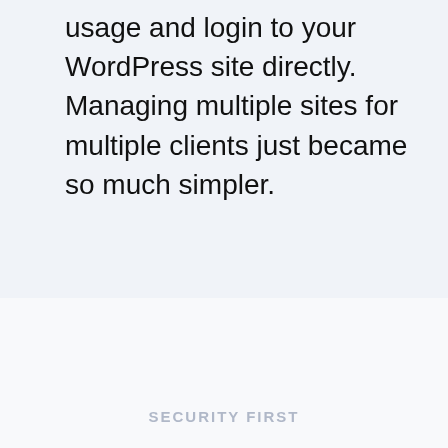usage and login to your WordPress site directly. Managing multiple sites for multiple clients just became so much simpler.
SECURITY FIRST